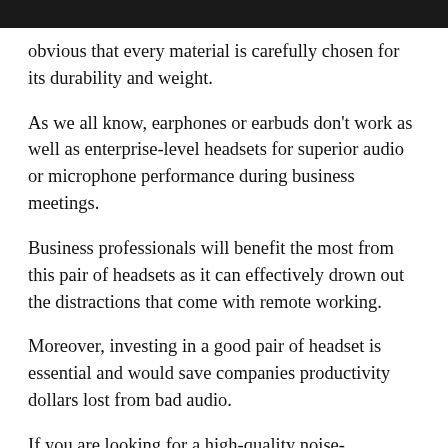obvious that every material is carefully chosen for its durability and weight.
As we all know, earphones or earbuds don't work as well as enterprise-level headsets for superior audio or microphone performance during business meetings.
Business professionals will benefit the most from this pair of headsets as it can effectively drown out the distractions that come with remote working.
Moreover, investing in a good pair of headset is essential and would save companies productivity dollars lost from bad audio.
If you are looking for a high-quality noise-cancelling headset that puts business first, then you will definitely appreciate what ADAPT 660 brings to the